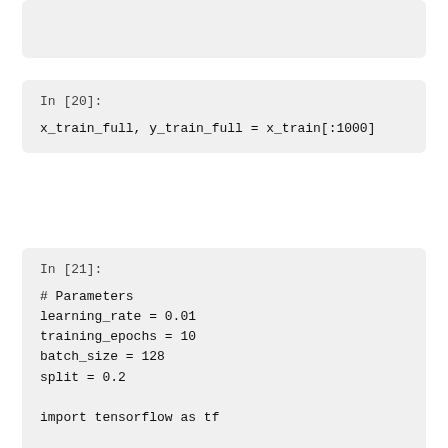(top stub of previous cell - truncated)
In [20]:

x_train_full, y_train_full = x_train[:1000]
In [21]:

# Parameters
learning_rate = 0.01
training_epochs = 10
batch_size = 128
split = 0.2

import tensorflow as tf

graph = tf.Graph()